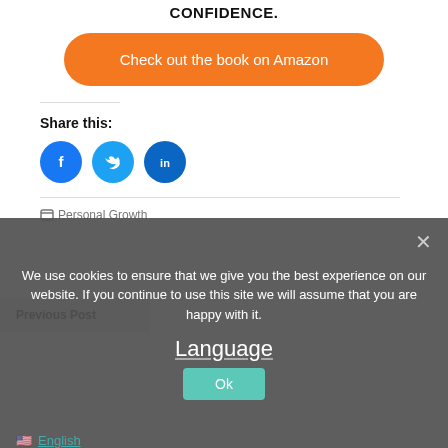CONFIDENCE.
Check out the book on Amazon
Share this:
[Figure (illustration): Three social media circular icon buttons: Facebook (blue circle with f icon), Twitter (light blue circle with bird icon), LinkedIn (dark blue circle with in icon)]
Personal Growth
Previous Post
We use cookies to ensure that we give you the best experience on our website. If you continue to use this site we will assume that you are happy with it.
Language
Ok
English